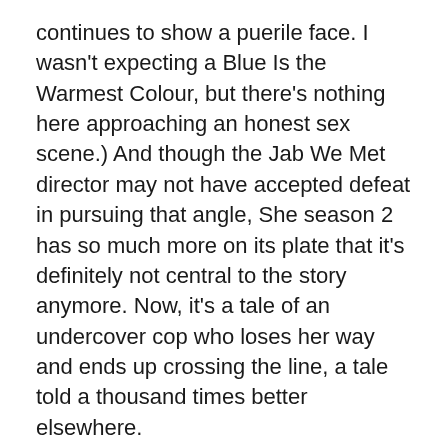continues to show a puerile face. I wasn't expecting a Blue Is the Warmest Colour, but there's nothing here approaching an honest sex scene.) And though the Jab We Met director may not have accepted defeat in pursuing that angle, She season 2 has so much more on its plate that it's definitely not central to the story anymore. Now, it's a tale of an undercover cop who loses her way and ends up crossing the line, a tale told a thousand times better elsewhere.
Inspired in parts by what feels like B-movie rip-offs of Narcos and Breaking Bad, She season 2 is unable to sell us on any of it. One of the biggest problems for the Indian Netflix series is that there's no scale to it. What we see on screen often conflates with what